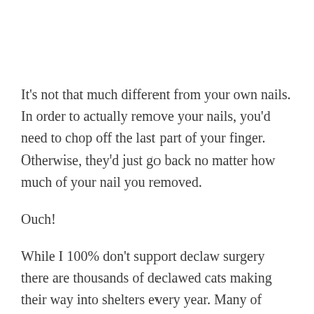It's not that much different from your own nails. In order to actually remove your nails, you'd need to chop off the last part of your finger. Otherwise, they'd just go back no matter how much of your nail you removed.
Ouch!
While I 100% don't support declaw surgery there are thousands of declawed cats making their way into shelters every year. Many of these cats are luckily able to find homes and these cats still deserve the chance to enjoy a cat tree!